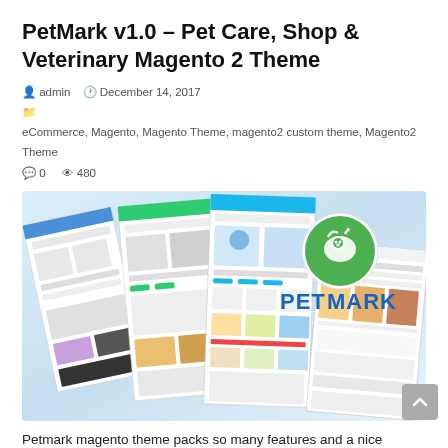PetMark v1.0 – Pet Care, Shop & Veterinary Magento 2 Theme
admin   December 14, 2017
eCommerce, Magento, Magento Theme, magento2 custom theme, Magento2 Theme
0   480
[Figure (screenshot): Promotional banner showing multiple website screenshots for PetMark Magento 2 theme with the PETMARK logo and a green circular pet icon on the right side.]
Petmark magento theme packs so many features and a nice design. It 's great for selling pet, pet food, pet supplies. Structure is clear and arrangement is logic which make modern feeling for this website.Demo: https://themeforest.net/item/petmark-pet-care-shop-